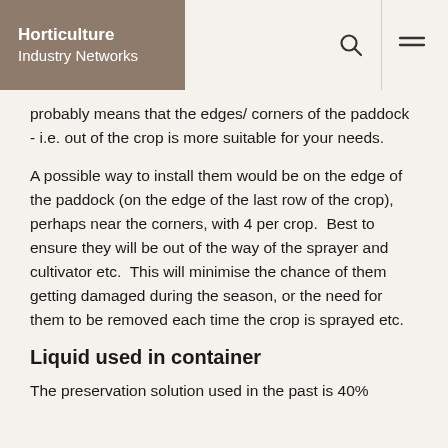Horticulture Industry Networks
probably means that the edges/ corners of the paddock - i.e. out of the crop is more suitable for your needs.
A possible way to install them would be on the edge of the paddock (on the edge of the last row of the crop), perhaps near the corners, with 4 per crop.  Best to ensure they will be out of the way of the sprayer and cultivator etc.  This will minimise the chance of them getting damaged during the season, or the need for them to be removed each time the crop is sprayed etc.
Liquid used in container
The preservation solution used in the past is 40%